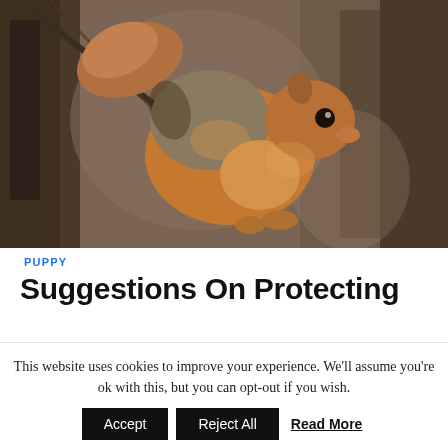[Figure (photo): A fox squirrel clinging to the side of a tree trunk, photographed close-up. The squirrel has reddish-orange and gray-brown fur and is looking toward the camera. Tree bark and bare branches visible in background.]
PUPPY
Suggestions On Protecting
This website uses cookies to improve your experience. We'll assume you're ok with this, but you can opt-out if you wish.
Accept  Reject All  Read More